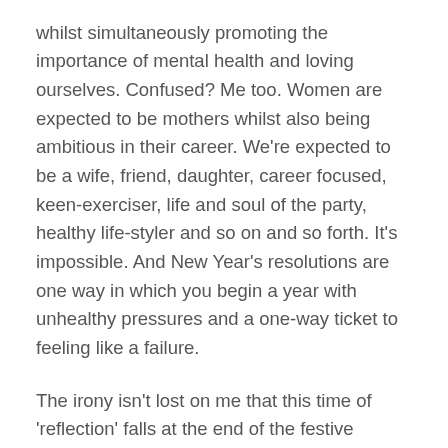whilst simultaneously promoting the importance of mental health and loving ourselves. Confused? Me too. Women are expected to be mothers whilst also being ambitious in their career. We're expected to be a wife, friend, daughter, career focused, keen-exerciser, life and soul of the party, healthy life-styler and so on and so forth. It's impossible. And New Year's resolutions are one way in which you begin a year with unhealthy pressures and a one-way ticket to feeling like a failure.
The irony isn't lost on me that this time of 'reflection' falls at the end of the festive season; when we've sat around eating and drinking too much and therefore feeling extra guilty for our laziness and gluttony. Better make those New Year's resolutions extra strict as a form of punishment, hey!
Well, this year feels slightly different, doesn't it? If 2020